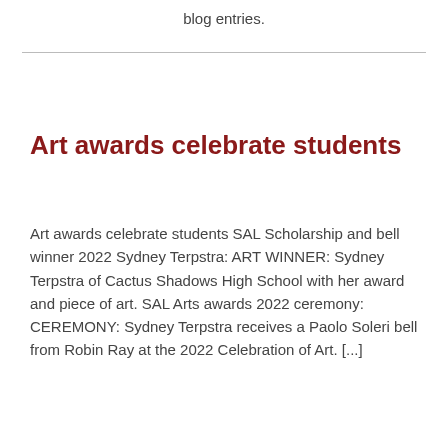blog entries.
Art awards celebrate students
Art awards celebrate students SAL Scholarship and bell winner 2022 Sydney Terpstra: ART WINNER: Sydney Terpstra of Cactus Shadows High School with her award and piece of art. SAL Arts awards 2022 ceremony: CEREMONY: Sydney Terpstra receives a Paolo Soleri bell from Robin Ray at the 2022 Celebration of Art. [...]